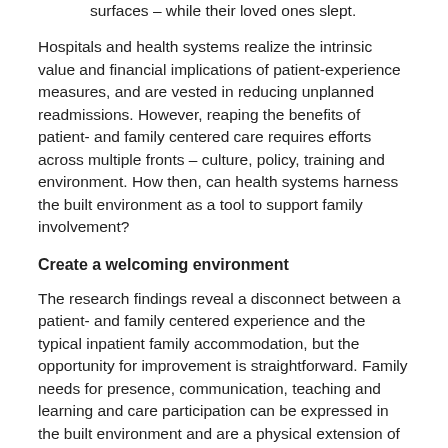surfaces – while their loved ones slept.
Hospitals and health systems realize the intrinsic value and financial implications of patient-experience measures, and are vested in reducing unplanned readmissions. However, reaping the benefits of patient- and family centered care requires efforts across multiple fronts – culture, policy, training and environment. How then, can health systems harness the built environment as a tool to support family involvement?
Create a welcoming environment
The research findings reveal a disconnect between a patient- and family centered experience and the typical inpatient family accommodation, but the opportunity for improvement is straightforward. Family needs for presence, communication, teaching and learning and care participation can be expressed in the built environment and are a physical extension of a hospital's brand and policy.
Accommodate frequent and inclusive communication: Provide a dedicated space to share and display information. The environment should accommodate multimodal communication between the patient, clinician and family member that allows for